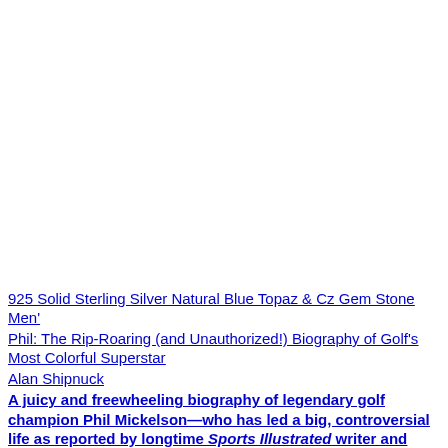925 Solid Sterling Silver Natural Blue Topaz & Cz Gem Stone Men'
Phil: The Rip-Roaring (and Unauthorized!) Biography of Golf's Most Colorful Superstar
Alan Shipnuck
A juicy and freewheeling biography of legendary golf champion Phil Mickelson—who has led a big, controversial life as reported by longtime Sports Illustrated writer and